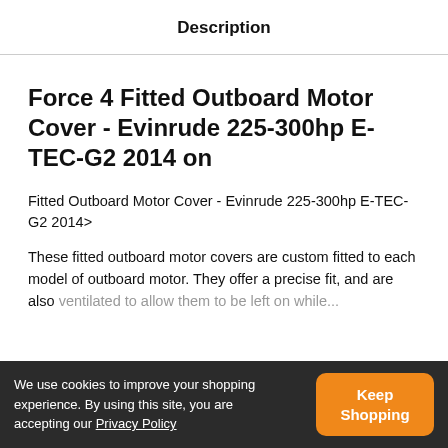Description
Force 4 Fitted Outboard Motor Cover - Evinrude 225-300hp E-TEC-G2 2014 on
Fitted Outboard Motor Cover - Evinrude 225-300hp E-TEC-G2 2014>
These fitted outboard motor covers are custom fitted to each model of outboard motor. They offer a precise fit, and are also ventilated to allow them to be left on while...
We use cookies to improve your shopping experience. By using this site, you are accepting our Privacy Policy
Keep Shopping